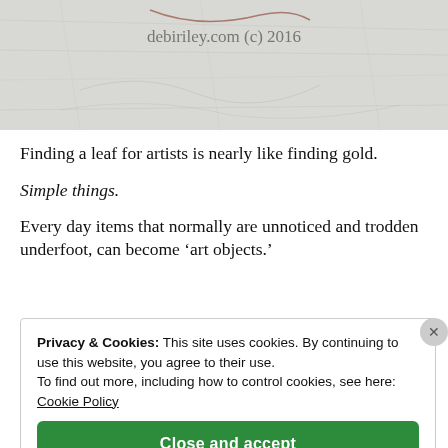[Figure (photo): Partial image of a textured surface (paper or stone) with watermark text 'debiriley.com (c) 2016' and faint sketch lines visible]
Finding a leaf for artists is nearly like finding gold.
Simple things.
Every day items that normally are unnoticed and trodden underfoot,  can become ‘art objects.’
Privacy & Cookies: This site uses cookies. By continuing to use this website, you agree to their use. To find out more, including how to control cookies, see here: Cookie Policy
Close and accept